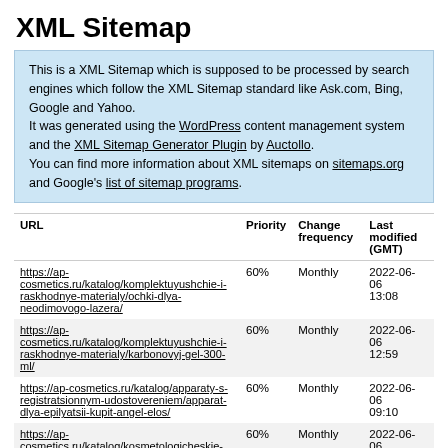XML Sitemap
This is a XML Sitemap which is supposed to be processed by search engines which follow the XML Sitemap standard like Ask.com, Bing, Google and Yahoo.
It was generated using the WordPress content management system and the XML Sitemap Generator Plugin by Auctollo.
You can find more information about XML sitemaps on sitemaps.org and Google's list of sitemap programs.
| URL | Priority | Change frequency | Last modified (GMT) |
| --- | --- | --- | --- |
| https://ap-cosmetics.ru/katalog/komplektuyushchie-i-raskhodnye-materialy/ochki-dlya-neodimovogo-lazera/ | 60% | Monthly | 2022-06-06 13:08 |
| https://ap-cosmetics.ru/katalog/komplektuyushchie-i-raskhodnye-materialy/karbonovyj-gel-300-ml/ | 60% | Monthly | 2022-06-06 12:59 |
| https://ap-cosmetics.ru/katalog/apparaty-s-registratsionnym-udostovereniem/apparat-dlya-epilyatsii-kupit-angel-elos/ | 60% | Monthly | 2022-06-06 09:10 |
| https://ap-cosmetics.ru/katalog/kosmetologicheskie-kombayny/delly-fix/ | 60% | Monthly | 2022-06-06 09:04 |
| https://ap- | 60% | Monthly | 2022-06-06 |